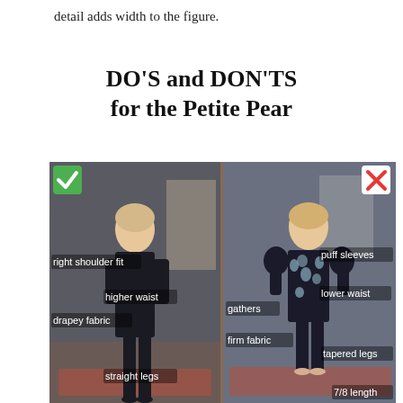detail adds width to the figure.
DO'S and DON'TS for the Petite Pear
[Figure (photo): Two comparison photos of a woman showing DO's and DON'TS for the Petite Pear body shape. Left photo (DO): woman in black jumpsuit with labels: right shoulder fit, higher waist, drapey fabric, straight legs. A green checkmark badge in top-left corner. Right photo (DON'T): woman in black and white floral jumpsuit with labels: puff sleeves, lower waist, gathers, firm fabric, tapered legs, 7/8 length. A red X badge in top-right corner.]